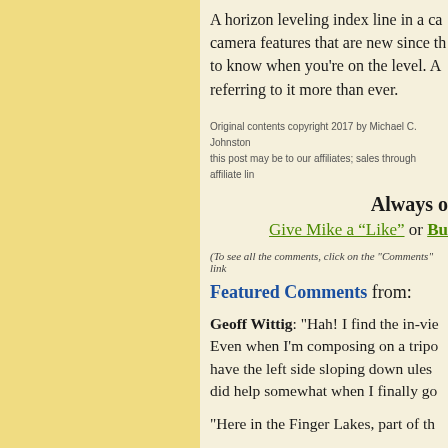A horizon leveling index line in a ca... camera features that are new since th... to know when you're on the level. A... referring to it more than ever.
Original contents copyright 2017 by Michael C. Johnston... this post may be to our affiliates; sales through affiliate lin...
Always o...
Give Mike a “Like” or Bu...
(To see all the comments, click on the "Comments" link...
Featured Comments from:
Geoff Wittig: "Hah! I find the in-vie... Even when I'm composing on a tripo... have the left side sloping down ules... did help somewhat when I finally go...
"Here in the Finger Lakes, part of th...